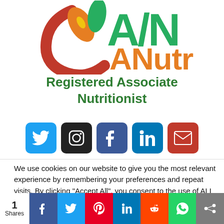[Figure (logo): ANutr Registered Associate Nutritionist logo — circular leaf/food motif in green, gold, red with 'A/N' text and 'ANutr' below in gold]
Registered Associate Nutritionist
[Figure (infographic): Row of social media icon buttons: Twitter (blue), Instagram (black), Facebook (dark blue), LinkedIn (blue), Email (red)]
We use cookies on our website to give you the most relevant experience by remembering your preferences and repeat visits. By clicking “Accept All”, you consent to the use of ALL the cookies. However, you may visit "Cookie Settings" to provide a controlled consent.
[Figure (infographic): Bottom share bar with share count '1 Shares' and colored social share icons: Facebook, Twitter, Pinterest, LinkedIn, Reddit, WhatsApp, Share]